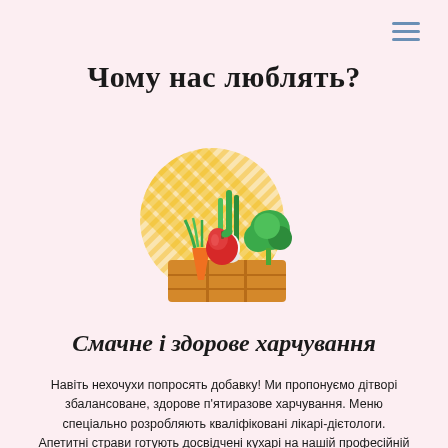[Figure (other): Hamburger menu icon — three horizontal blue lines in top right corner]
Чому нас люблять?
[Figure (illustration): Flat illustration of a wooden crate with vegetables and fruits: carrot, apple, leek/onion, broccoli, with a yellow circle with diagonal stripes in background]
Смачне і здорове харчування
Навіть нехочухи попросять добавку! Ми пропонуємо дітворі збалансоване, здорове п'ятиразове харчування. Меню спеціально розробляють кваліфіковані лікарі-дієтологи. Апетитні страви готують досвідчені кухарі на нашій професійній кухні.